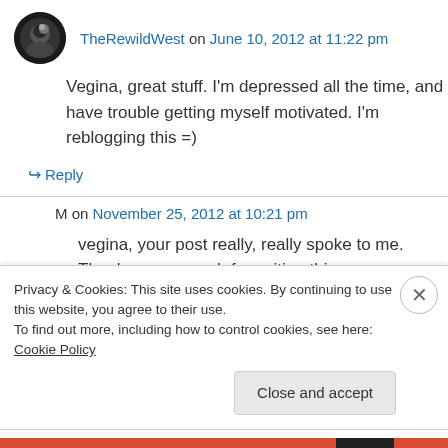TheRewildWest on June 10, 2012 at 11:22 pm
Vegina, great stuff. I'm depressed all the time, and have trouble getting myself motivated. I'm reblogging this =)
↪ Reply
M on November 25, 2012 at 10:21 pm
vegina, your post really, really spoke to me. Thank you so much for writing this.
Privacy & Cookies: This site uses cookies. By continuing to use this website, you agree to their use.
To find out more, including how to control cookies, see here: Cookie Policy
Close and accept